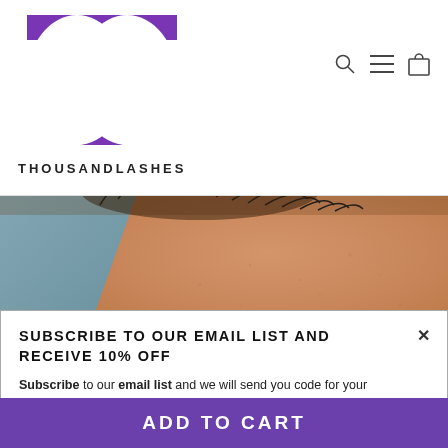[Figure (logo): Thousand Lashes logo with purple T lettermark and THOUSANDLASHES text]
[Figure (photo): Close-up macro photo of a person's eye area and cheekbone skin showing fine lash extensions, warm skin tone]
SUBSCRIBE TO OUR EMAIL LIST AND RECEIVE 10% OFF
Subscribe to our email list and we will send you code for your first purchase. We won't spam you ( promise )*
Enter your email
ADD TO CART